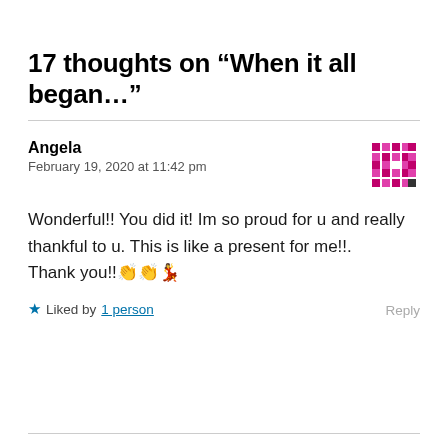17 thoughts on “When it all began…”
Angela
February 19, 2020 at 11:42 pm
Wonderful!! You did it! Im so proud for u and really thankful to u. This is like a present for me!!. Thank you!!👏👏💃
★ Liked by 1 person
Reply